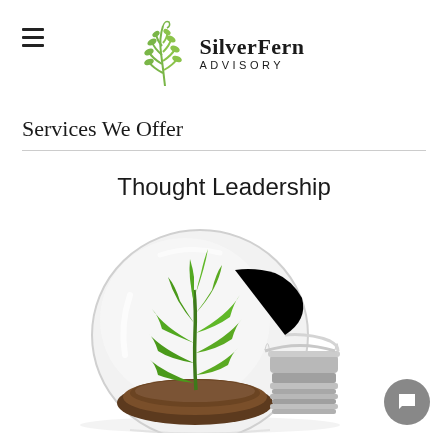SilverFern ADVISORY
Services We Offer
Thought Leadership
[Figure (illustration): A glass light bulb lying on its side with a green plant seedling growing from soil inside it, symbolizing growth and innovation. A grey circular chat button overlaps the lower right corner.]